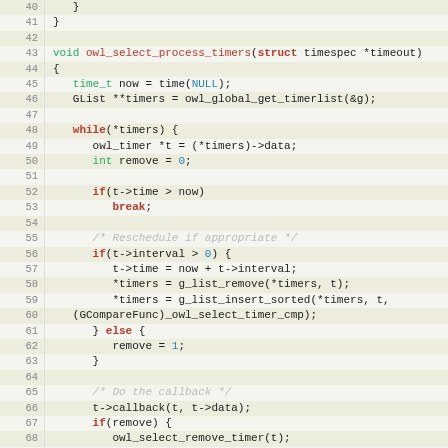[Figure (screenshot): Source code screenshot showing C function owl_select_process_timers with line numbers 40-71, syntax highlighted in a code editor style with beige/tan alternating line backgrounds.]